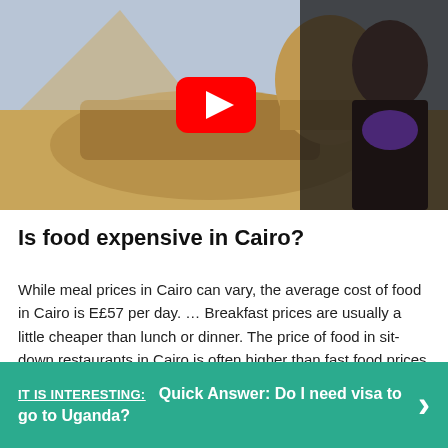[Figure (screenshot): YouTube video thumbnail showing a woman in a black blazer with purple top standing in front of the Great Sphinx of Giza. A red YouTube play button is visible in the center.]
Is food expensive in Cairo?
While meal prices in Cairo can vary, the average cost of food in Cairo is E£57 per day. … Breakfast prices are usually a little cheaper than lunch or dinner. The price of food in sit-down restaurants in Cairo is often higher than fast food prices or street food prices.
IT IS INTERESTING:  Quick Answer: Do I need visa to go to Uganda?